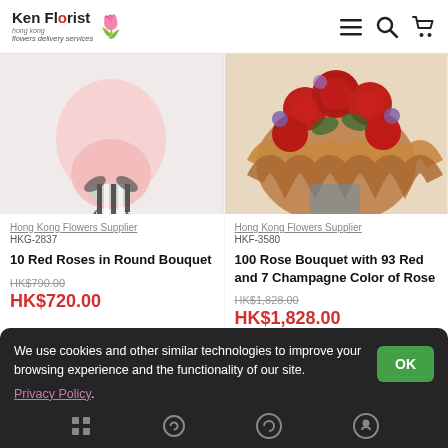Ken Florist - Hong Kong Flowers Delivery Services
[Figure (photo): Pink round bouquet with striped ribbon tie, partial view]
Hong Kong Flowers Supplier
HKG-2837
10 Red Roses in Round Bouquet
HK$790.00
HK$720.00
[Figure (photo): Large bouquet of red roses with champagne roses in brown wrapping, partial view]
Hong Kong Flowers Supplier
HKF-3580
100 Rose Bouquet with 93 Red and 7 Champagne Color of Rose
HK$1,828.00
HK$1,828.00
We use cookies and other similar technologies to improve your browsing experience and the functionality of our site. Privacy Policy.